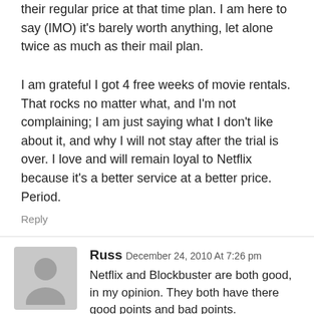their regular price at that time plan. I am here to say (IMO) it's barely worth anything, let alone twice as much as their mail plan.
I am grateful I got 4 free weeks of movie rentals. That rocks no matter what, and I'm not complaining; I am just saying what I don't like about it, and why I will not stay after the trial is over. I love and will remain loyal to Netflix because it's a better service at a better price. Period.
Reply
Russ December 24, 2010 At 7:26 pm
Netflix and Blockbuster are both good, in my opinion. They both have there good points and bad points.
My interest is in streaming. I have a Bluray player with this capability. What irritates me is the indifference they show to those of us with a home